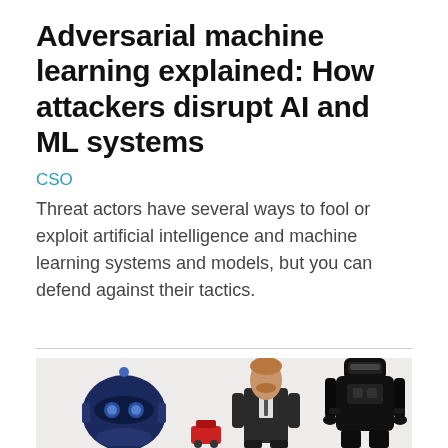Adversarial machine learning explained: How attackers disrupt AI and ML systems
CSO
Threat actors have several ways to fool or exploit artificial intelligence and machine learning systems and models, but you can defend against their tactics.
[Figure (photo): Photo showing a blue mechanical robot head on the left, a man in a business suit in the center, and a black humanoid robot on the right, with a small red object between them, all against a light gray background.]